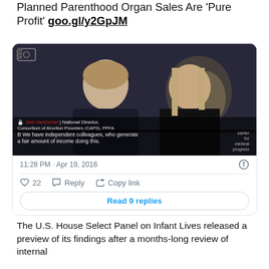Planned Parenthood Organ Sales Are 'Pure Profit' goo.gl/y2GpJM
[Figure (screenshot): Video screenshot showing two women, with a caption bar identifying 'Deb VanDerhei, National Director, Consortium of Abortion Providers (CAPS), PPFA' and a quote 'B We have independent colleagues, who generate a fair amount of income doing this.']
11:28 PM · Apr 19, 2016
♡ 22   Reply   Copy link
Read 9 replies
The U.S. House Select Panel on Infant Lives released a preview of its findings after a months-long review of internal